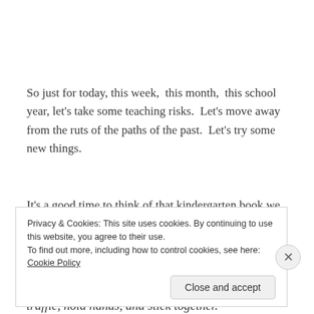So just for today, this week,  this month,  this school year, let's take some teaching risks.  Let's move away from the ruts of the paths of the past.  Let's try some new things.
It's a good time to think of that kindergarten book we used to love.
13. When you go out into the world, watch out for traffic, hold hands, and stick together.
Privacy & Cookies: This site uses cookies. By continuing to use this website, you agree to their use.
To find out more, including how to control cookies, see here: Cookie Policy
Close and accept